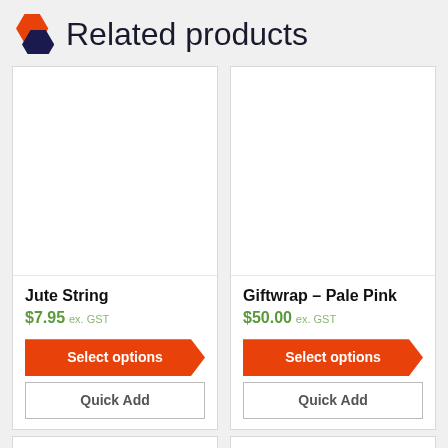Related products
[Figure (illustration): Product image placeholder — white rectangle for Jute String]
Jute String
$7.95 ex. GST
Select options
Quick Add
[Figure (illustration): Product image placeholder — white rectangle for Giftwrap – Pale Pink]
Giftwrap – Pale Pink
$50.00 ex. GST
Select options
Quick Add